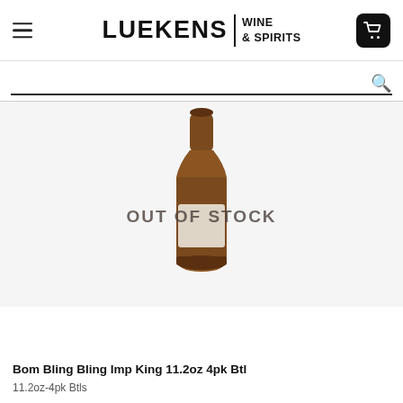LUEKENS WINE & SPIRITS
[Figure (photo): Brown glass beer bottle with a white label, displayed with an 'OUT OF STOCK' overlay text in gray capital letters. The bottle is a tall amber-colored bottle with a narrow neck.]
Bom Bling Bling Imp King 11.2oz 4pk Btl
11.2oz-4pk Btls